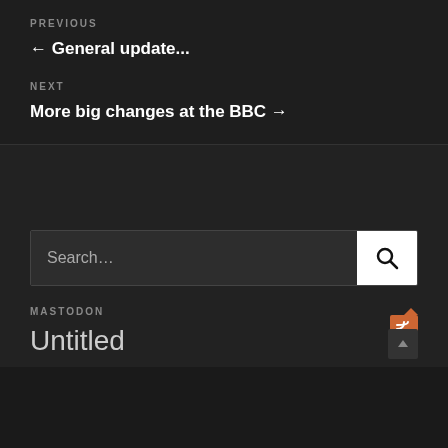PREVIOUS
← General update...
NEXT
More big changes at the BBC →
Search…
MASTODON
Untitled